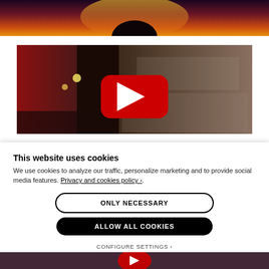[Figure (photo): Top portion of a concert/performance photo showing a silhouette figure against warm orange and yellow backlighting, partially cropped]
[Figure (screenshot): Concert video thumbnail with YouTube play button overlay. Shows a dense crowd, stage with red elements, and a large stone or metallic wall. Red YouTube play button in center.]
This website uses cookies
We use cookies to analyze our traffic, personalize marketing and to provide social media features. Privacy and cookies policy ›.
ONLY NECESSARY
ALLOW ALL COOKIES
CONFIGURE SETTINGS ›
[Figure (photo): Bottom portion of another concert video thumbnail partially visible at the bottom of the page, showing a red YouTube play button]